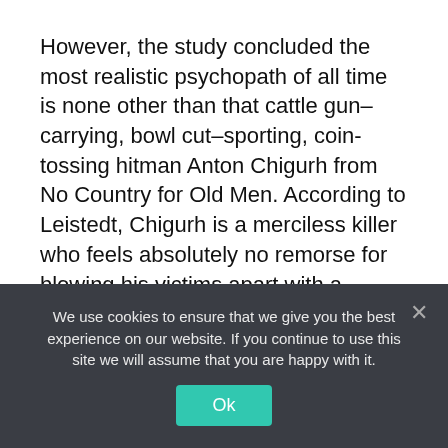However, the study concluded the most realistic psychopath of all time is none other than that cattle gun–carrying, bowl cut–sporting, coin-tossing hitman Anton Chigurh from No Country for Old Men. According to Leistedt, Chigurh is a merciless killer who feels absolutely no remorse for blowing his victims apart with a shotgun. He's very determined, has no empathy for his victims, and is incapable of emotions like love or shame. Leistedt wrote that Chigurh reminded of him actual contract killers he'd interviewed, and even compared Javier
We use cookies to ensure that we give you the best experience on our website. If you continue to use this site we will assume that you are happy with it.